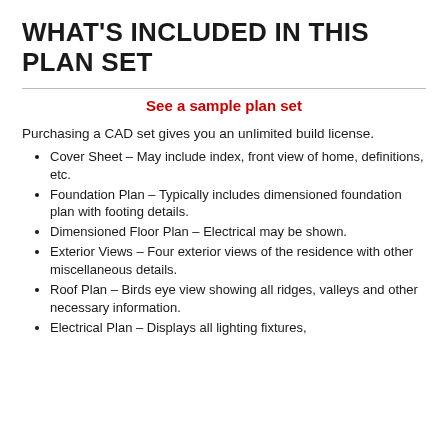WHAT'S INCLUDED IN THIS PLAN SET
See a sample plan set
Purchasing a CAD set gives you an unlimited build license.
Cover Sheet – May include index, front view of home, definitions, etc.
Foundation Plan – Typically includes dimensioned foundation plan with footing details.
Dimensioned Floor Plan – Electrical may be shown.
Exterior Views – Four exterior views of the residence with other miscellaneous details.
Roof Plan – Birds eye view showing all ridges, valleys and other necessary information.
Electrical Plan – Displays all lighting fixtures,